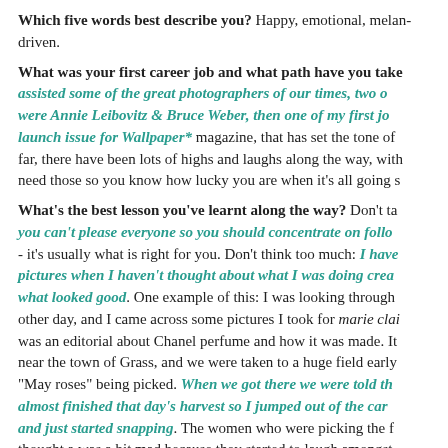Which five words best describe you? Happy, emotional, melandriven.
What was your first career job and what path have you taken? I assisted some of the great photographers of our times, two of which were Annie Leibovitz & Bruce Weber, then one of my first jobs was the launch issue for Wallpaper* magazine, that has set the tone of... so far, there have been lots of highs and laughs along the way, with... need those so you know how lucky you are when it's all going s...
What's the best lesson you've learnt along the way? Don't ta... you can't please everyone so you should concentrate on follo... - it's usually what is right for you. Don't think too much: I have... pictures when I haven't thought about what I was doing crea... what looked good. One example of this: I was looking through other day, and I came across some pictures I took for marie clai... was an editorial about Chanel perfume and how it was made. It... near the town of Grass, and we were taken to a huge field early... "May roses" being picked. When we got there we were told th... almost finished that day's harvest so I jumped out of the car... and just started snapping. The women who were picking the f... thought a was a bit mad because they started to laugh amongst...